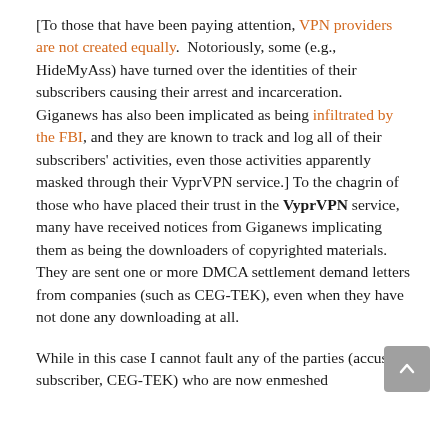[To those that have been paying attention, VPN providers are not created equally. Notoriously, some (e.g., HideMyAss) have turned over the identities of their subscribers causing their arrest and incarceration. Giganews has also been implicated as being infiltrated by the FBI, and they are known to track and log all of their subscribers' activities, even those activities apparently masked through their VyprVPN service.] To the chagrin of those who have placed their trust in the VyprVPN service, many have received notices from Giganews implicating them as being the downloaders of copyrighted materials. They are sent one or more DMCA settlement demand letters from companies (such as CEG-TEK), even when they have not done any downloading at all.

While in this case I cannot fault any of the parties (accused subscriber, CEG-TEK) who are now enmeshed